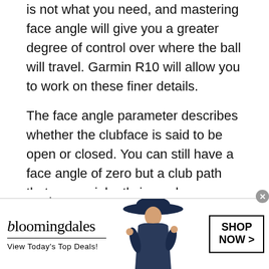is not what you need, and mastering face angle will give you a greater degree of control over where the ball will travel. Garmin R10 will allow you to work on these finer details.
The face angle parameter describes whether the clubface is said to be open or closed. You can still have a face angle of zero but a club path that veers violently inward or outward. Which brings us neatly onto face-to-path.
[Figure (other): Partial view of a bar chart graphic on the left and red bold 'Face Angle' text on the right, partially cut off at the bottom of the page]
[Figure (advertisement): Bloomingdales advertisement banner: logo, 'View Today's Top Deals!' tagline, woman in wide-brim hat, and 'SHOP NOW >' button]